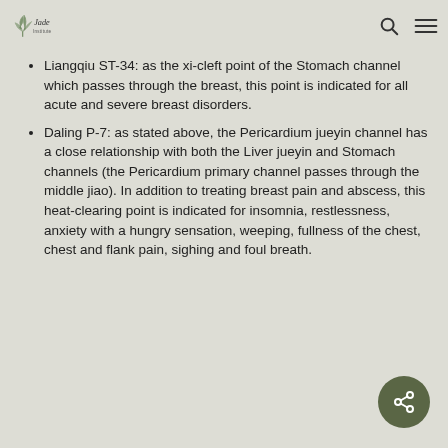Jade Institute
Liangqiu ST-34: as the xi-cleft point of the Stomach channel which passes through the breast, this point is indicated for all acute and severe breast disorders.
Daling P-7: as stated above, the Pericardium jueyin channel has a close relationship with both the Liver jueyin and Stomach channels (the Pericardium primary channel passes through the middle jiao). In addition to treating breast pain and abscess, this heat-clearing point is indicated for insomnia, restlessness, anxiety with a hungry sensation, weeping, fullness of the chest, chest and flank pain, sighing and foul breath.